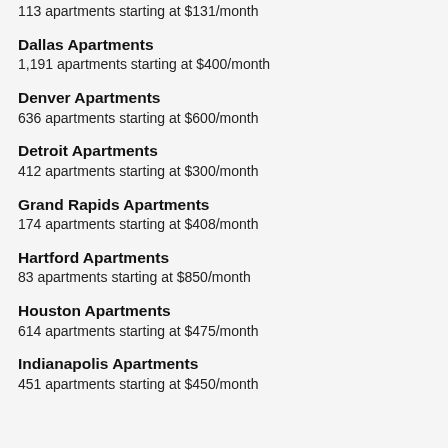113 apartments starting at $131/month
Dallas Apartments
1,191 apartments starting at $400/month
Denver Apartments
636 apartments starting at $600/month
Detroit Apartments
412 apartments starting at $300/month
Grand Rapids Apartments
174 apartments starting at $408/month
Hartford Apartments
83 apartments starting at $850/month
Houston Apartments
614 apartments starting at $475/month
Indianapolis Apartments
451 apartments starting at $450/month